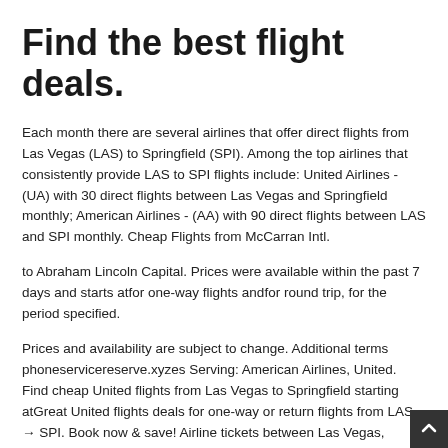Find the best flight deals.
Each month there are several airlines that offer direct flights from Las Vegas (LAS) to Springfield (SPI). Among the top airlines that consistently provide LAS to SPI flights include: United Airlines - (UA) with 30 direct flights between Las Vegas and Springfield monthly; American Airlines - (AA) with 90 direct flights between LAS and SPI monthly. Cheap Flights from McCarran Intl.
to Abraham Lincoln Capital. Prices were available within the past 7 days and starts atfor one-way flights andfor round trip, for the period specified.
Prices and availability are subject to change. Additional terms phoneservicereserve.xyzes Serving: American Airlines, United. Find cheap United flights from Las Vegas to Springfield starting atGreat United flights deals for one-way or return flights from LAS → SPI. Book now & save! Airline tickets between Las Vegas, McCarran International Airport and (SPI) Springfield, Abraham